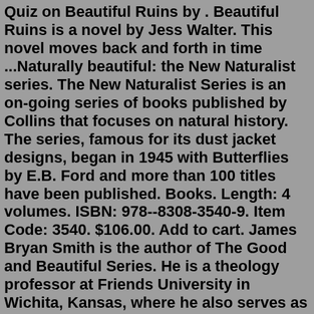Quiz on Beautiful Ruins by . Beautiful Ruins is a novel by Jess Walter. This novel moves back and forth in time ...Naturally beautiful: the New Naturalist series. The New Naturalist Series is an on-going series of books published by Collins that focuses on natural history. The series, famous for its dust jacket designs, began in 1945 with Butterflies by E.B. Ford and more than 100 titles have been published. Books. Length: 4 volumes. ISBN: 978--8308-3540-9. Item Code: 3540. $106.00. Add to cart. James Bryan Smith is the author of The Good and Beautiful Series. He is a theology professor at Friends University in Wichita, Kansas, where he also serves as the director of the Apprentice Institute for Christian Spiritual Formation.From her first tentative cover design in 1887 to the designs of her later years that boldly splashed color and form across their covers, the book art of Margaret Armstrong is one of WVU's treasured collections. The Book Beautiful: Margaret Armstrong & Her Bindings, first opened at the New York Society Library on January 16, 2020. Aug 24, 2015 · Saint X